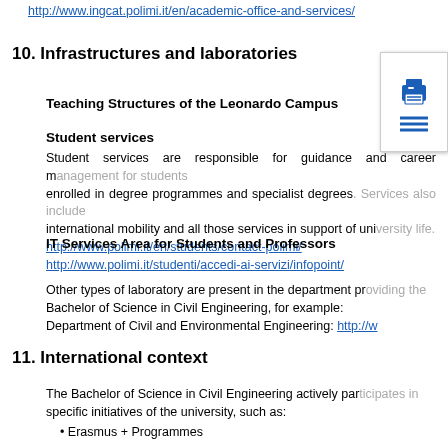http://www.ingcat.polimi.it/en/academic-office-and-services/
10. Infrastructures and laboratories
[Figure (illustration): Print/menu icon with a printer icon and horizontal lines below it]
Teaching Structures of the Leonardo Campus
Student services
Student services are responsible for guidance and career management for students enrolled in degree programmes and specialist degrees. Services also include international mobility and all those services in support of university life.
http://www.polimi.it/en/students/contact-polimi/
IT Services Area for Students and Professors
http://www.polimi.it/studenti/accedi-ai-servizi/infopoint/
Other types of laboratory are present in the department providing the Bachelor of Science in Civil Engineering, for example:
Department of Civil and Environmental Engineering: http://w
11. International context
The Bachelor of Science in Civil Engineering actively participates in specific initiatives of the university, such as:
Erasmus + Programmes